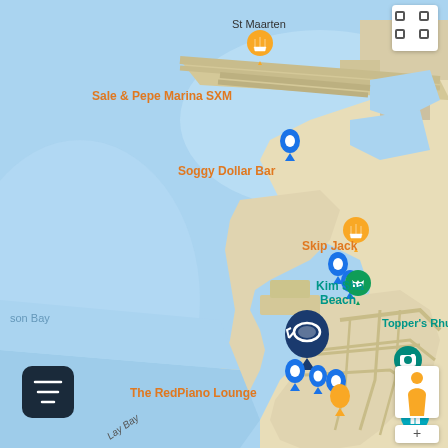[Figure (map): Google Maps screenshot showing the coast of St. Maarten near Pelican Key. Shows water (blue/light blue), land areas (tan/beige), road networks, and multiple map pins. Labels visible include: Port de Plaisance, Sale & Pepe Marina SXM, Soggy Dollar Bar, Skip Jack, Kim Sha Beach, Topper's Rhum Distillery, The RedPiano Lounge, Caribbean Cinemas, Pelican Key, Zircon Road, Lay Bay, Billy Folly Road, Topaz Rd. Map pins in blue (location), orange (food/restaurant), green (activity), and teal (photo). UI elements: expand button top-right, filter button bottom-left, street view person bottom-right, zoom plus bottom-right.]